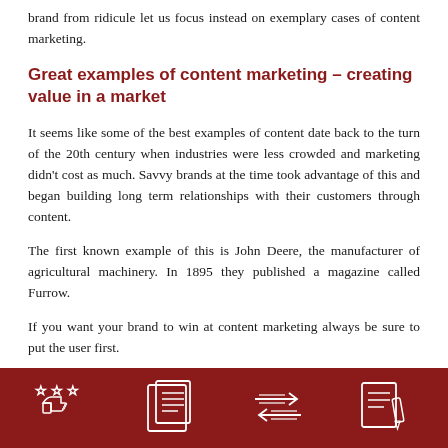brand from ridicule let us focus instead on exemplary cases of content marketing.
Great examples of content marketing – creating value in a market
It seems like some of the best examples of content date back to the turn of the 20th century when industries were less crowded and marketing didn't cost as much. Savvy brands at the time took advantage of this and began building long term relationships with their customers through content.
The first known example of this is John Deere, the manufacturer of agricultural machinery. In 1895 they published a magazine called Furrow.
If you want your brand to win at content marketing always be sure to put the user first.
[Figure (infographic): Dark red footer bar with four white line icons: thumbs up with stars, document/newspaper, arrows pointing left and right, document with pen.]